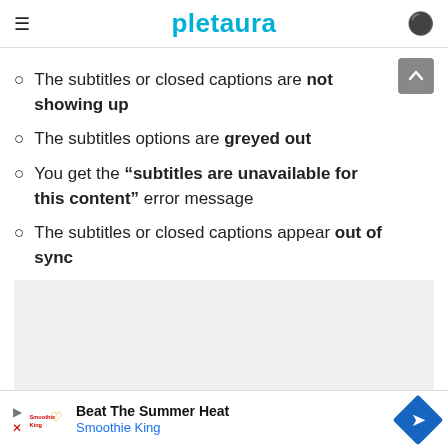pletaura
The subtitles or closed captions are not showing up
The subtitles options are greyed out
You get the “subtitles are unavailable for this content” error message
The subtitles or closed captions appear out of sync
Beat The Summer Heat Smoothie King